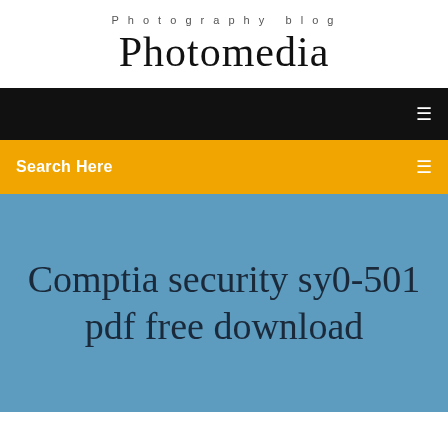Photography blog
Photomedia
[Figure (screenshot): Black navigation bar with a white menu icon on the right]
[Figure (screenshot): Yellow/orange search bar with 'Search Here' text on the left and a white search icon on the right]
Comptia security sy0-501 pdf free download